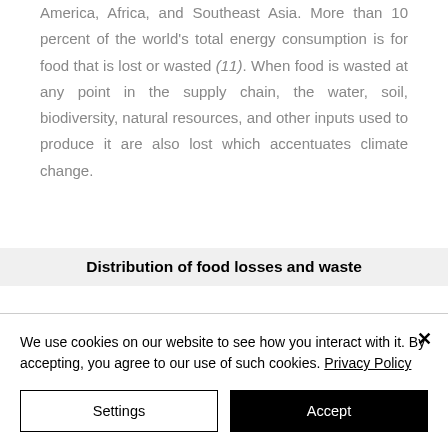America, Africa, and Southeast Asia. More than 10 percent of the world's total energy consumption is for food that is lost or wasted (11). When food is wasted at any point in the supply chain, the water, soil, biodiversity, natural resources, and other inputs used to produce it are also lost which accentuates climate change.
Distribution of food losses and waste
We use cookies on our website to see how you interact with it. By accepting, you agree to our use of such cookies. Privacy Policy